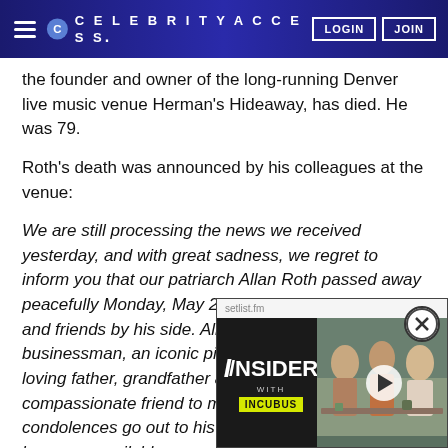CELEBRITYACCESS. LOGIN JOIN
the founder and owner of the long-running Denver live music venue Herman's Hideaway, has died. He was 79.
Roth's death was announced by his colleagues at the venue:
We are still processing the news we received yesterday, and with great sadness, we regret to inform you that our patriarch Allan Roth passed away peacefully Monday, May 20th at age 79 with family and friends by his side. Allan was a visionary businessman, an iconic pioneer in the music world, a loving father, grandfather and family man, and a compassionate friend to many. Our heartfelt condolences go out to his family and more information becomes available.
Roth's father Herman founded Herman's Hideaway and Allen joined him in operating
[Figure (screenshot): Setlist.fm Insider with Incubus video player overlay with play button, showing three people sitting and talking]